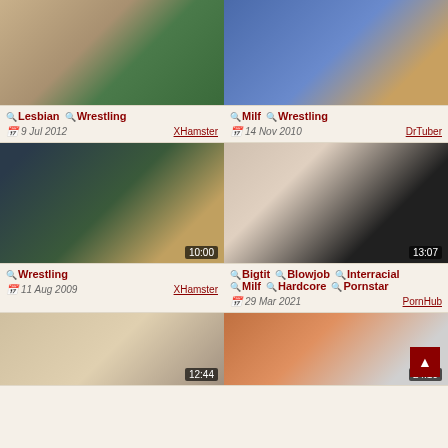[Figure (screenshot): Video thumbnail - wrestling/feet scene, green mat background]
Lesbian  Wrestling
9 Jul 2012   XHamster
[Figure (screenshot): Video thumbnail - wrestling scene, blue mat]
Milf  Wrestling
14 Nov 2010   DrTuber
[Figure (screenshot): Video thumbnail - wrestling women, duration 10:00]
Wrestling
11 Aug 2009   XHamster
[Figure (screenshot): Video thumbnail - woman with man, duration 13:07]
Bigtit  Blowjob  Interracial  Milf  Hardcore  Pornstar
29 Mar 2021   PornHub
[Figure (screenshot): Video thumbnail - two women indoors, duration 12:44]
[Figure (screenshot): Video thumbnail - wrestling scene, duration 24:19]